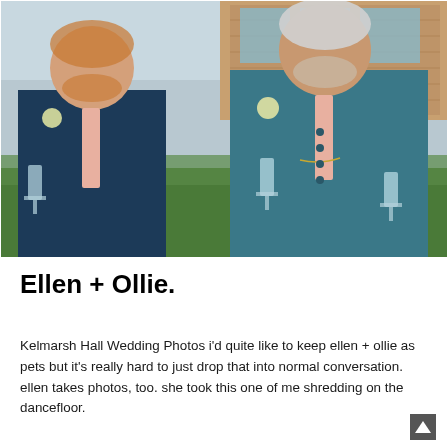[Figure (photo): Two men in teal/blue tweed suits with pink ties and boutonnieres, holding champagne flutes, smiling and laughing, standing on green grass in front of a brick building (Kelmarsh Hall).]
Ellen + Ollie.
Kelmarsh Hall Wedding Photos i'd quite like to keep ellen + ollie as pets but it's really hard to just drop that into normal conversation. ellen takes photos, too. she took this one of me shredding on the dancefloor.